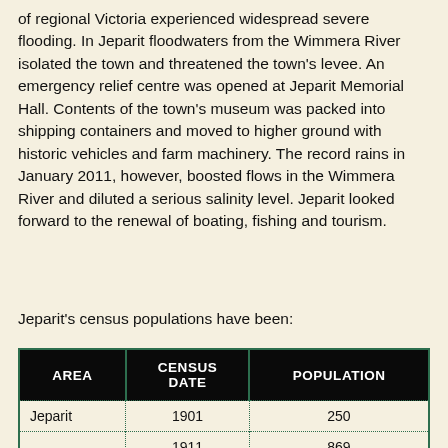of regional Victoria experienced widespread severe flooding. In Jeparit floodwaters from the Wimmera River isolated the town and threatened the town's levee. An emergency relief centre was opened at Jeparit Memorial Hall. Contents of the town's museum was packed into shipping containers and moved to higher ground with historic vehicles and farm machinery. The record rains in January 2011, however, boosted flows in the Wimmera River and diluted a serious salinity level. Jeparit looked forward to the renewal of boating, fishing and tourism.
Jeparit's census populations have been:
| AREA | CENSUS DATE | POPULATION |
| --- | --- | --- |
| Jeparit | 1901 | 250 |
|  | 1911 | 869 |
|  | 1966 | 707 |